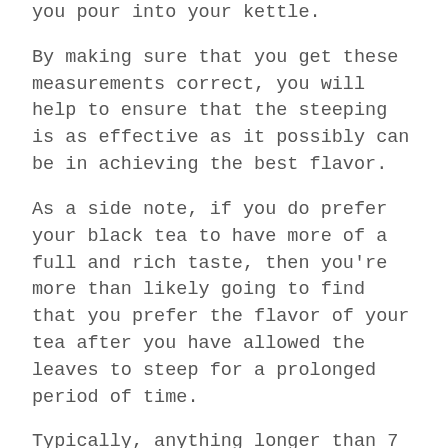you pour into your kettle.
By making sure that you get these measurements correct, you will help to ensure that the steeping is as effective as it possibly can be in achieving the best flavor.
As a side note, if you do prefer your black tea to have more of a full and rich taste, then you're more than likely going to find that you prefer the flavor of your tea after you have allowed the leaves to steep for a prolonged period of time.
Typically, anything longer than 7 minutes will provide you with a strong, rich, and full-bodied flavor, although do keep in mind that you are free to steep your black tea for even longer than this if you so desire.